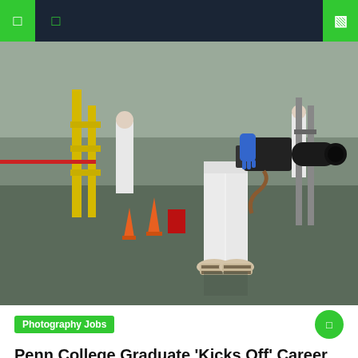☰  ☰  🔍
[Figure (photo): A person in a white cleanroom suit and blue gloves holding a large camera with a telephoto lens, standing in an industrial/laboratory environment with yellow scaffolding, orange safety cones, and other workers in white suits in the background.]
Photography Jobs
Penn College Graduate 'Kicks Off' Career As A Photographer | News, Sports, Jobs